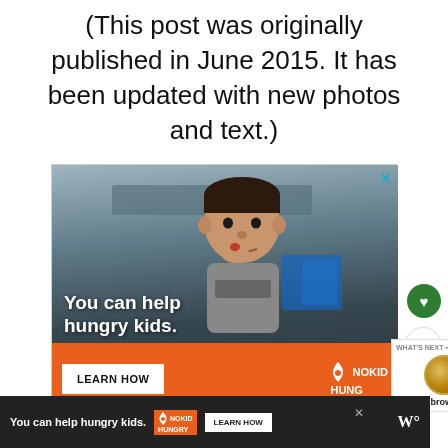(This post was originally published in June 2015. It has been updated with new photos and text.)
[Figure (photo): Advertisement for No Kid Hungry featuring a young boy eating in a classroom. Orange bar at bottom with 'LEARN HOW' button and 'NO KID HUNGRY' logo. Text overlay reads 'You can help hungry kids.']
[Figure (screenshot): Bottom banner advertisement: dark background with text 'You can help hungry kids.' and No Kid Hungry logo, LEARN HOW button, and a W symbol on the right.]